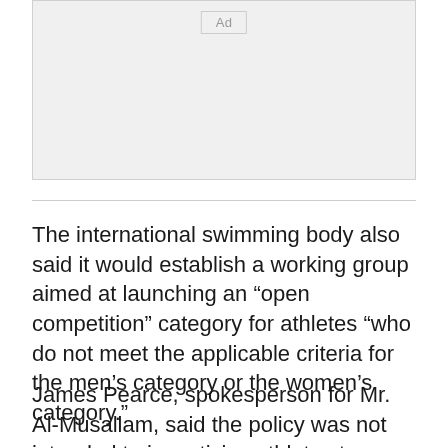[Figure (other): Advertisement placeholder box with 'Ad' label centered at top]
The international swimming body also said it would establish a working group aimed at launching an “open competition” category for athletes “who do not meet the applicable criteria for the men’s category or the women’s category.”
James Pearce, spokesperson for Mr. Al-Musallam, said the policy was not intended to incentivize athletes to undergo gender